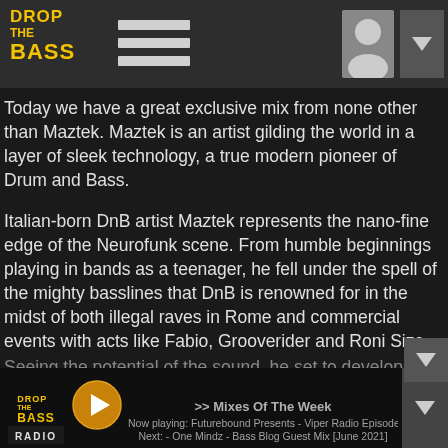DROP THE BASS [logo] [hamburger menu] [user icon] [dropdown]
Today we have a great exclusive mix from none other than Maztek. Maztek is an artist gilding the world in a layer of sleek technology, a true modern pioneer of Drum and Bass.
Italian-born DnB artist Maztek represents the nano-fine edge of the Neurofunk scene. From humble beginnings playing in bands as a teenager, he fell under the spell of the mighty basslines that DnB is renowned for in the midst of both illegal raves in Rome and commercial events with acts like Fabio, Grooverider and Roni Size
Seeing the potential of the sound, he set to developing a unique futuristic aesthetic of his own
Maztek moniker that has become highly influential throughout the
>> Mixes Of The Week
Now playing: Futurebound Presents - Viper Radio Episode 032
Next: - One Mindz - Bass Blog Guest Mix [June 2021]